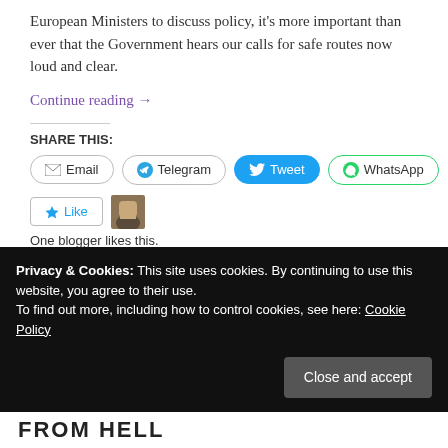European Ministers to discuss policy, it's more important than ever that the Government hears our calls for safe routes now loud and clear.
Continue reading →
SHARE THIS:
Email | Telegram | Tweet | WhatsApp
Like | One blogger likes this.
Privacy & Cookies: This site uses cookies. By continuing to use this website, you agree to their use.
To find out more, including how to control cookies, see here: Cookie Policy
Close and accept
FROM HELL